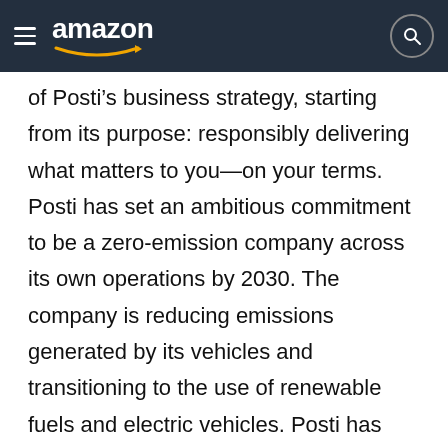amazon
of Posti’s business strategy, starting from its purpose: responsibly delivering what matters to you—on your terms. Posti has set an ambitious commitment to be a zero-emission company across its own operations by 2030. The company is reducing emissions generated by its vehicles and transitioning to the use of renewable fuels and electric vehicles. Posti has already switched to renewable diesel for its e-commerce delivery vans, reducing vehicle-specific in-use emissions by more than 90%. The company is also working